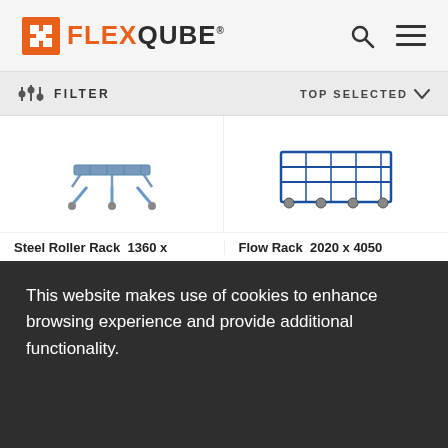FLEXQUBE
FILTER   TOP SELECTED
[Figure (photo): Two product images: Steel Roller Rack 1360 on left, Flow Rack 2020x4050 on right, partially visible]
Steel Roller Rack  1360 x   Flow Rack  2020 x 4050
This website makes use of cookies to enhance browsing experience and provide additional functionality.
I UNDERSTAND
READ MORE